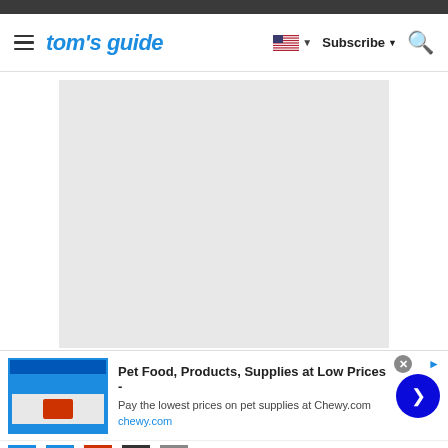tom's guide — Subscribe — Search
[Figure (screenshot): Large light gray image placeholder rectangle in the center of the Tom's Guide webpage]
[Figure (infographic): Chewy.com advertisement banner: 'Pet Food, Products, Supplies at Low Prices - Pay the lowest prices on pet supplies at Chewy.com' with thumbnail images and a blue arrow button]